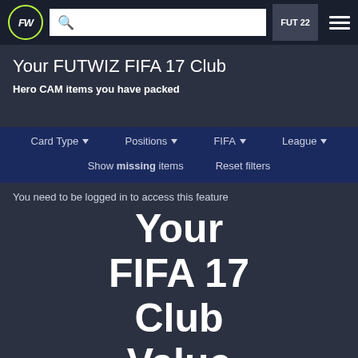FUTWIZ FUT 22 navigation bar
Your FUTWIZ FIFA 17 Club
Hero CAM items you have packed
Card Type ▾  Positions ▾  FIFA ▾  League ▾
Show missing items   Reset filters
You need to be logged in to access this feature
Your FIFA 17 Club Value
0